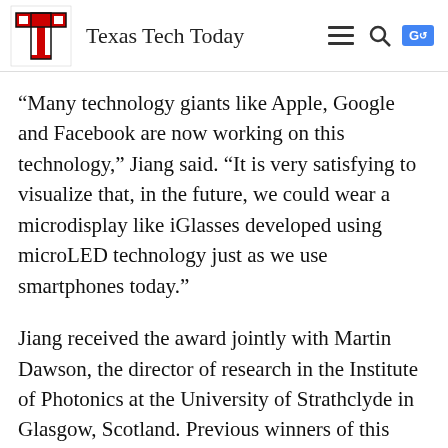Texas Tech Today
“Many technology giants like Apple, Google and Facebook are now working on this technology,” Jiang said. “It is very satisfying to visualize that, in the future, we could wear a microdisplay like iGlasses developed using microLED technology just as we use smartphones today.”
Jiang received the award jointly with Martin Dawson, the director of research in the Institute of Photonics at the University of Strathclyde in Glasgow, Scotland. Previous winners of this award include a Nobel laureate in Physics and recipients of the National Medal of Science and National Medal of Technology awards.